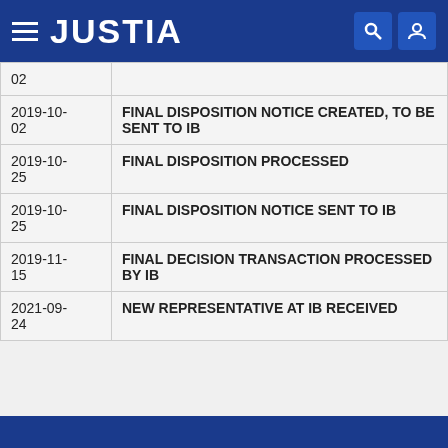JUSTIA
| Date | Event |
| --- | --- |
| 2019-10-02 |  |
| 2019-10-02 | FINAL DISPOSITION NOTICE CREATED, TO BE SENT TO IB |
| 2019-10-25 | FINAL DISPOSITION PROCESSED |
| 2019-10-25 | FINAL DISPOSITION NOTICE SENT TO IB |
| 2019-11-15 | FINAL DECISION TRANSACTION PROCESSED BY IB |
| 2021-09-24 | NEW REPRESENTATIVE AT IB RECEIVED |